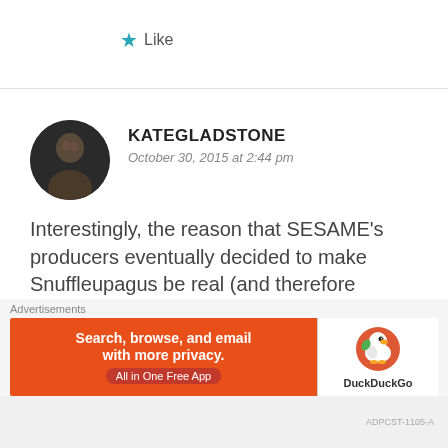★ Like
KATEGLADSTONE
October 30, 2015 at 2:44 pm
[Figure (photo): Circular avatar photo of commenter KATEGLADSTONE, showing a person with dark hair against a dark background]
Interestingly, the reason that SESAME’s producers eventually decided to make Snuffleupagus be real (and therefore “believed in” by the neighbors, not just by Big Bird) was that SESAME’s producers found out that Big Bird’s failure to get
Advertisements
[Figure (screenshot): DuckDuckGo advertisement banner: orange left side with text 'Search, browse, and email with more privacy. All in One Free App', and white right side with DuckDuckGo logo and name]